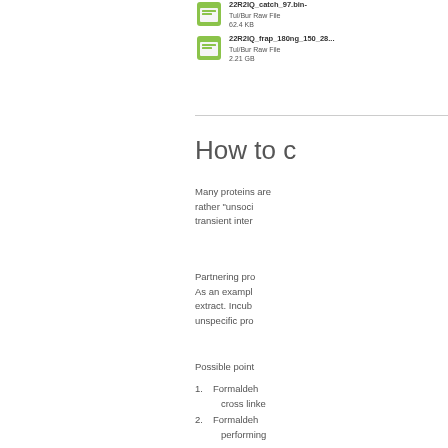[Figure (screenshot): Two file icons with labels. First file: 22R2IQ_catch_97.bin, Tul/Bur Raw File, 62.4 KB. Second file: 22R2IQ_frap_180ng_150_28..., Tul/Bur Raw File, 2.21 GB.]
How to c
Many proteins are rather “unsoci… transient inter…
Partnering pro… As an exampl… extract. Incub… unspecific pro…
Possible point…
Formaldeh… cross linke…
Formaldeh… performing…